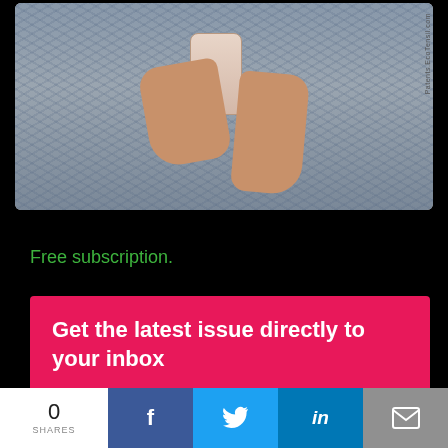[Figure (photo): Person in blue-grey patterned dress holding a cup/smoothie, torso and arms visible, white background. Watermark: Patents.EcoTensil.com]
Free subscription.
Get the latest issue directly to your inbox
Email Address *
0 SHARES | Facebook | Twitter | LinkedIn | Email